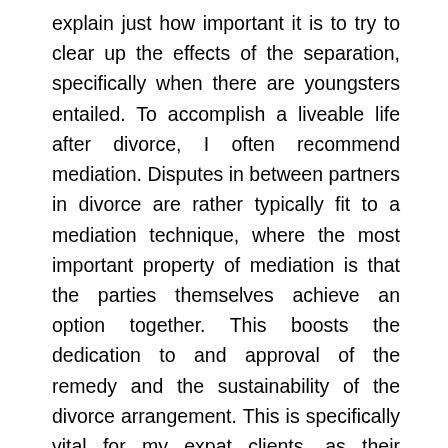explain just how important it is to try to clear up the effects of the separation, specifically when there are youngsters entailed. To accomplish a liveable life after divorce, I often recommend mediation. Disputes in between partners in divorce are rather typically fit to a mediation technique, where the most important property of mediation is that the parties themselves achieve an option together. This boosts the dedication to and approval of the remedy and the sustainability of the divorce arrangement. This is specifically vital for my expat clients, as their divorce agreements are extra likely to be challenged in situations in the